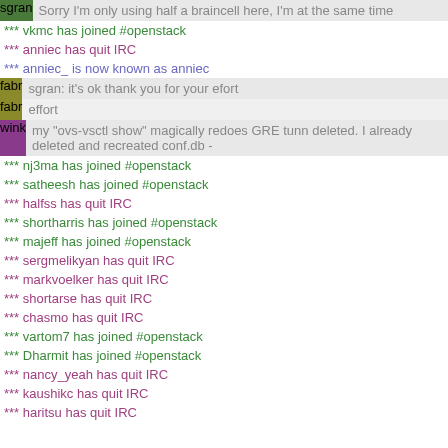sgran: Sorry I'm only using half a braincell here, I'm at the same time
*** vkmc has joined #openstack
*** anniec has quit IRC
*** anniec_ is now known as anniec
fabr: sgran: it's ok thank you for your efort
fabr: effort
wink: my "ovs-vsctl show" magically redoes GRE tunn deleted. I already deleted and recreated conf.db -
*** nj3ma has joined #openstack
*** satheesh has joined #openstack
*** halfss has quit IRC
*** shortharris has joined #openstack
*** majeff has joined #openstack
*** sergmelikyan has quit IRC
*** markvoelker has quit IRC
*** shortarse has quit IRC
*** chasmo has quit IRC
*** vartom7 has joined #openstack
*** Dharmit has joined #openstack
*** nancy_yeah has quit IRC
*** kaushikc has quit IRC
*** haritsu has quit IRC